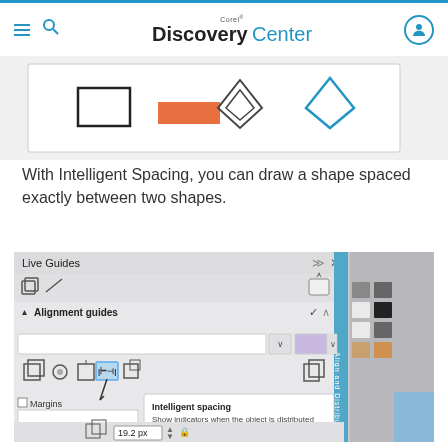Corel® Discovery Center
[Figure (screenshot): Partial screenshot showing design shapes including an orange rectangle and diamond shapes with blue and teal accents]
With Intelligent Spacing, you can draw a shape spaced exactly between two shapes.
[Figure (screenshot): Screenshot of Corel Live Guides panel showing Alignment guides section with Intelligent spacing tooltip: 'Show indicators when the object is distributed with the closest objects or is equally spaced between them.' The panel shows various guide icons and a Margins section. Value of 19.2 px is visible at the bottom.]